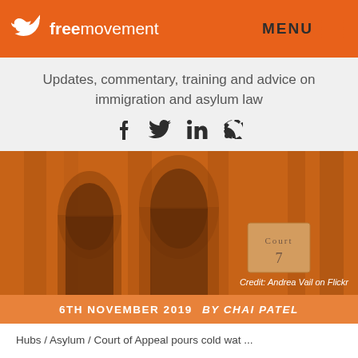freemovement — MENU
Updates, commentary, training and advice on immigration and asylum law
[Figure (logo): Social media icons: Facebook, Twitter, LinkedIn, RSS feed]
[Figure (photo): Courthouse interior with arched doors and Court 7 sign, orange-tinted. Credit: Andrea Vail on Flickr]
Credit: Andrea Vail on Flickr
6TH NOVEMBER 2019 BY CHAI PATEL
Hubs / Asylum / Court of Appeal pours cold wat ...
Court of Appeal pours cold